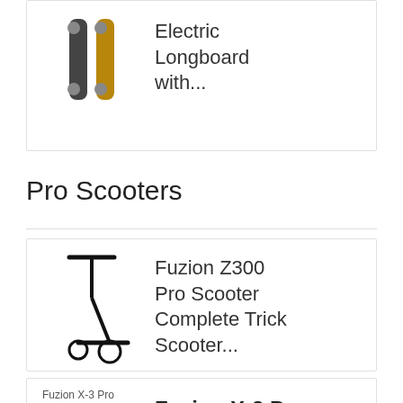[Figure (photo): Electric Longboard product image (two longboard images side by side)]
Electric Longboard with...
Pro Scooters
[Figure (photo): Fuzion Z300 Pro Scooter product image - black trick scooter on white background]
Fuzion Z300 Pro Scooter Complete Trick Scooter...
[Figure (photo): Fuzion X-3 Pro Scooter product image (broken/loading)]
Fuzion X-3 Pro Scooter